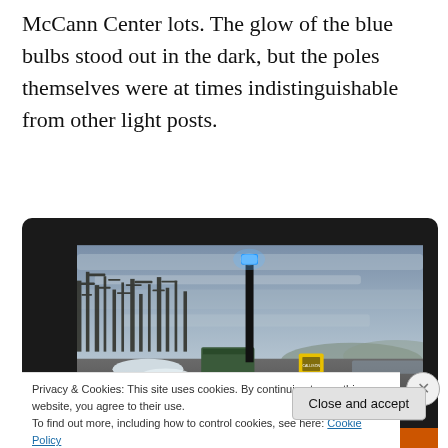McCann Center lots. The glow of the blue bulbs stood out in the dark, but the poles themselves were at times indistinguishable from other light posts.
[Figure (photo): A tall black light pole with a glowing blue light at the top, photographed at dusk in a parking lot. Bare winter trees visible in the background against a cloudy grey-blue sky. Yellow warning signs near the base of the pole.]
Privacy & Cookies: This site uses cookies. By continuing to use this website, you agree to their use.
To find out more, including how to control cookies, see here: Cookie Policy